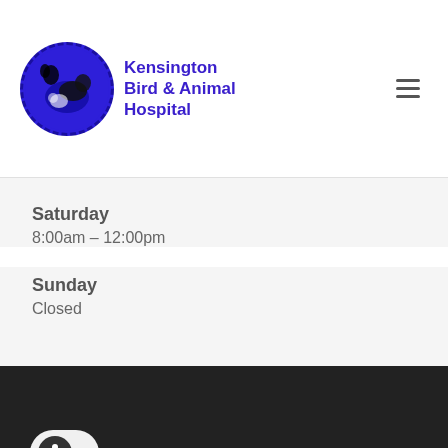Kensington Bird & Animal Hospital
Saturday
8:00am – 12:00pm
Sunday
Closed
© 2022 Kensington Bird & Animal Hospital. Provided by Covetrus | Powered by LifeLearn